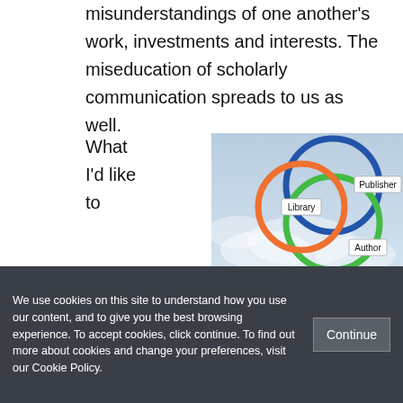misunderstandings of one another's work, investments and interests. The miseducation of scholarly communication spreads to us as well.
What I'd like to
[Figure (illustration): Venn diagram showing three overlapping circles labeled Publisher (blue/green), Library (orange), and Author (green/orange) on a cloudy sky background.]
We use cookies on this site to understand how you use our content, and to give you the best browsing experience. To accept cookies, click continue. To find out more about cookies and change your preferences, visit our Cookie Policy.